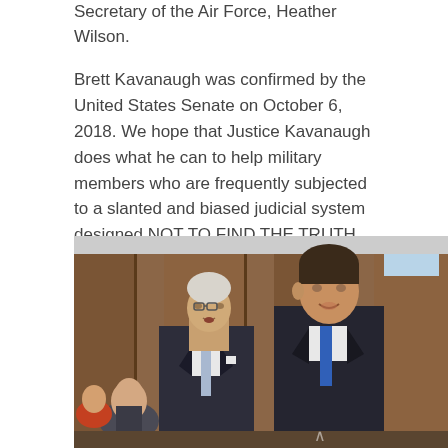Secretary of the Air Force, Heather Wilson.
Brett Kavanaugh was confirmed by the United States Senate on October 6, 2018. We hope that Justice Kavanaugh does what he can to help military members who are frequently subjected to a slanted and biased judicial system designed NOT TO FIND THE TRUTH, OR LEVY FAIR JUSTICE, but to protect the military system under the guise of being a credible judicial system. Unlawful command influence is one of the biggest problems.
[Figure (photo): Two men in dark suits standing together in what appears to be a Senate hearing room. The older man on the left has white hair and a light blue tie; the younger man on the right has dark hair and a blue tie. Several other people are visible seated in the background.]